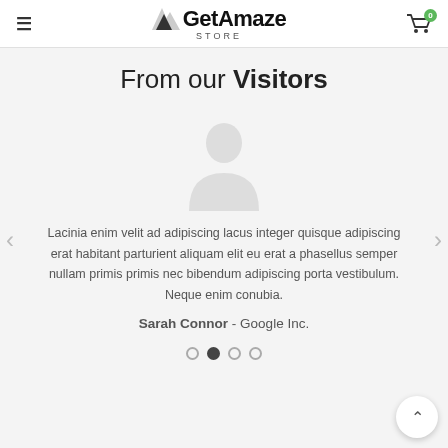GetAmaze STORE
From our Visitors
[Figure (illustration): Generic silhouette avatar placeholder image of a person]
Lacinia enim velit ad adipiscing lacus integer quisque adipiscing erat habitant parturient aliquam elit eu erat a phasellus semper nullam primis primis nec bibendum adipiscing porta vestibulum. Neque enim conubia.
Sarah Connor - Google Inc.